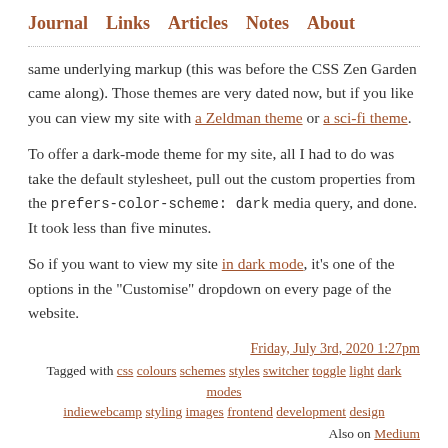Journal  Links  Articles  Notes  About
same underlying markup (this was before the CSS Zen Garden came along). Those themes are very dated now, but if you like you can view my site with a Zeldman theme or a sci-fi theme.
To offer a dark-mode theme for my site, all I had to do was take the default stylesheet, pull out the custom properties from the prefers-color-scheme: dark media query, and done. It took less than five minutes.
So if you want to view my site in dark mode, it's one of the options in the “Customise” dropdown on every page of the website.
Friday, July 3rd, 2020 1:27pm
Tagged with css colours schemes styles switcher toggle light dark modes indiewebcamp styling images frontend development design
Also on Medium